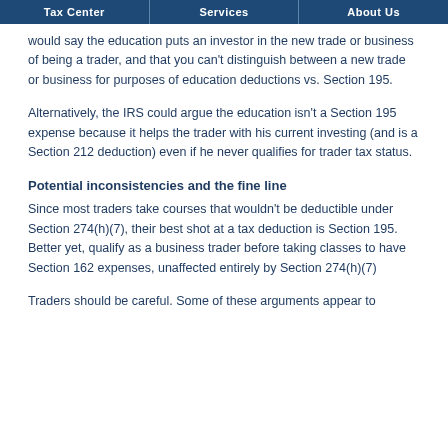Tax Center | Services | About Us
would say the education puts an investor in the new trade or business of being a trader, and that you can't distinguish between a new trade or business for purposes of education deductions vs. Section 195.
Alternatively, the IRS could argue the education isn't a Section 195 expense because it helps the trader with his current investing (and is a Section 212 deduction) even if he never qualifies for trader tax status.
Potential inconsistencies and the fine line
Since most traders take courses that wouldn't be deductible under Section 274(h)(7), their best shot at a tax deduction is Section 195. Better yet, qualify as a business trader before taking classes to have Section 162 expenses, unaffected entirely by Section 274(h)(7)
Traders should be careful. Some of these arguments appear to